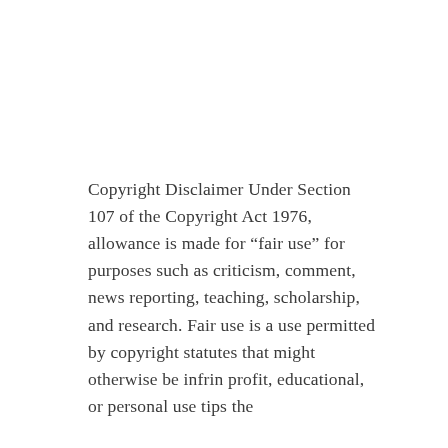Copyright Disclaimer Under Section 107 of the Copyright Act 1976, allowance is made for “fair use” for purposes such as criticism, comment, news reporting, teaching, scholarship, and research. Fair use is a use permitted by copyright statutes that might otherwise be infrin profit, educational, or personal use tips the